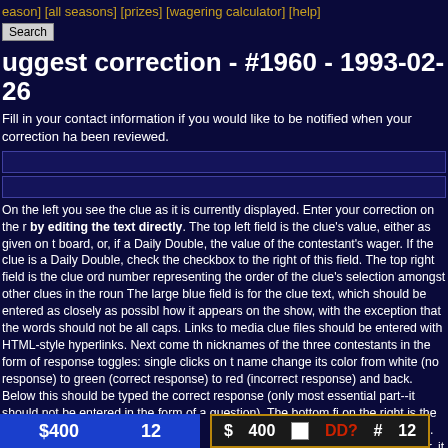[all seasons] [prizes] [wagering calculator] [help]
Search
uggest correction - #1960 - 1993-02-26
Fill in your contact information if you would like to be notified when your correction has been reviewed.
On the left you see the clue as it is currently displayed. Enter your correction on the right by editing the text directly. The top left field is the clue's value, either as given on the board, or, if a Daily Double, the value of the contestant's wager. If the clue is a Daily Double, check the checkbox to the right of this field. The top right field is the clue order number representing the order of the clue's selection amongst other clues in the round. The large blue field is for the clue text, which should be entered as closely as possible to how it appears on the show, with the exception that the words should not be all caps. Links to media clue files should be entered with HTML-style hyperlinks. Next come the nicknames of the three contestants in the form of response toggles: single clicks on the name change its color from white (no response) to green (correct response) to red (incorrect response) and back. Below this should be typed the correct response (only the most essential part--it should not be entered in the form of a question). The bottom field on the right is the clue comments field, where dialog (including incorrect responses) can be entered. (Note that the correct response should never be typed in the comments field; rather, it should be denoted by [*].)
$400  12  |  $400  DD?  #12